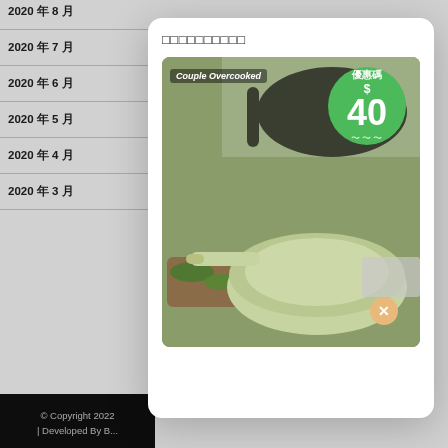2020 年 8 月
2020 年 7 月
2020 年 6 月
2020 年 5 月
2020 年 4 月
2020 年 3 月
© Copyright 2022 | Developed By B...
□□□□□□□□□□
[Figure (photo): Green ceramic frying pan (Couple Overcooked brand) with a discount coupon circle showing $40 in green, herbs and wooden cutting board in background]